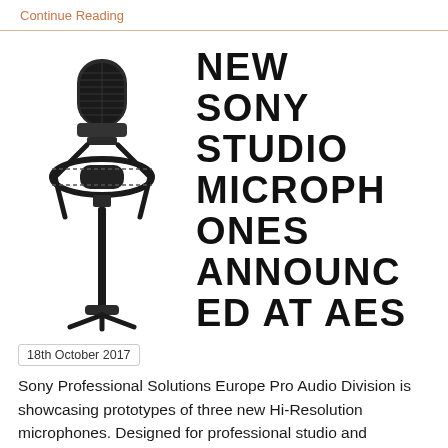Continue Reading
[Figure (photo): A Sony studio condenser microphone on a shock mount stand, black in color, shown against a white background.]
NEW SONY STUDIO MICROPHONES ANNOUNCED AT AES
18th October 2017
Sony Professional Solutions Europe Pro Audio Division is showcasing prototypes of three new Hi-Resolution microphones. Designed for professional studio and recording applications, the most notable feature of the new Hi-Res studio microphones is that they are capable